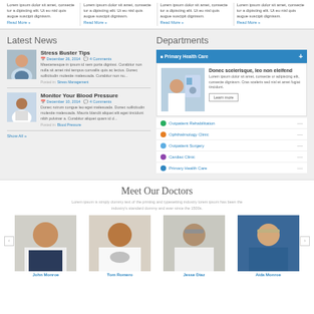Lorem ipsum dolor sit amet, consecte tur a dipiscing elit. Ut eu nisl quis augue suscipit dignissm...
Read More »
Lorem ipsum dolor sit amet, consecte tur a dipiscing elit. Ut eu nisl quis augue suscipit dignissm...
Read More »
Lorem ipsum dolor sit amet, consecte tur a dipiscing elit. Ut eu nisl quis augue suscipit dignissm...
Read More »
Lorem ipsum dolor sit amet, consecte tur a dipiscing elit. Ut eu nisl quis augue suscipit dignissm...
Read More »
Latest News
Stress Buster Tips
December 26, 2014  4 Comments
Maecenesque in ipsum id sem porta dignissi. Curabitur non nulla sit amet nisl tempus convallis quis ac lectus. Donec sollicitudin molestie malesuada. Curabitur non nu...
Posted in: Stress Management
Monitor Your Blood Pressure
December 10, 2014  4 Comments
Donec rutrum congue leo eget malesuada. Donec sollicitudin molestie malesuada. Mauris blandit aliquet elit eget tincidunt nibh pulvinar a. Curabitur aliquet quam id d...
Posted in: Blood Pressure
Show All »
Departments
Primary Health Care
Donec scelerisque, leo non eleifend
Lorem ipsum dolor sit amet, consecte ur adipiscing elit, consecte dignissm. Cras sceleris sed nisl et amet fugiat tincidunt.
Learn more
Outpatient Rehabilitation
Ophthalmology Clinic
Outpatient Surgery
Cardiac Clinic
Primary Health Care
Meet Our Doctors
Lorem ipsum is simply dummy text of the printing and typesetting industry lorem ipsum has been the industry's standard dummy and ever since the 1500s.
[Figure (photo): Photo of John Monroe, male doctor smiling in white coat]
John Monroe
[Figure (photo): Photo of Tom Romero, male doctor smiling in white coat with stethoscope]
Tom Romero
[Figure (photo): Photo of Jesse Diaz, older male doctor with glasses]
Jesse Diaz
[Figure (photo): Photo of Aida Monroe, female doctor in blue scrubs with glasses]
Aida Monroe